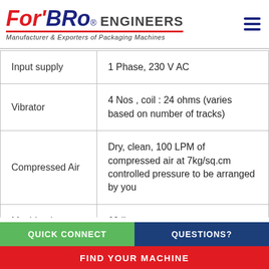[Figure (logo): FOR'BRO Engineers logo with red and blue stylized text, tagline 'Manufacturer & Exporters of Packaging Machines']
| Input supply | 1 Phase, 230 V AC |
| Vibrator | 4 Nos , coil : 24 ohms (varies based on number of tracks) |
| Compressed Air | Dry, clean, 100 LPM of compressed air at 7kg/sq.cm controlled pressure to be arranged by you |
| Machine hopper | 60 litres |
QUICK CONNECT
QUESTIONS?
FIND YOUR MACHINE